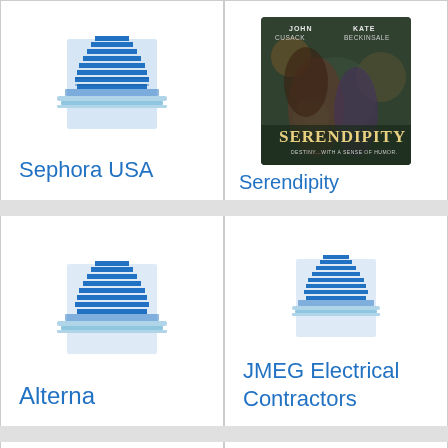[Figure (logo): Blue building/skyscraper icon representing Sephora USA]
Sephora USA
[Figure (photo): Movie poster for Serendipity featuring John Cusack and Kate Beckinsale]
Serendipity
[Figure (logo): Blue building/skyscraper icon representing Alterna]
Alterna
[Figure (logo): Blue building/skyscraper icon representing JMEG Electrical Contractors]
JMEG Electrical Contractors
[Figure (logo): Blue building/skyscraper icon (bottom left, partially visible)]
[Figure (logo): Blue building/skyscraper icon (bottom right, partially visible)]